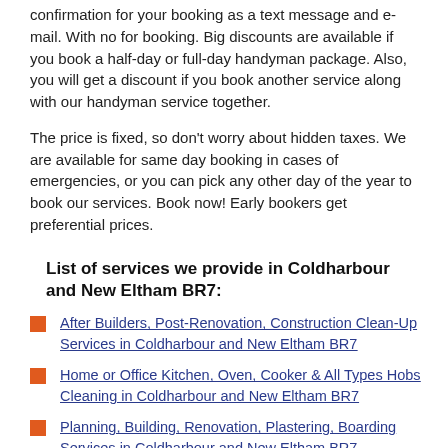confirmation for your booking as a text message and e-mail. With no for booking. Big discounts are available if you book a half-day or full-day handyman package. Also, you will get a discount if you book another service along with our handyman service together.
The price is fixed, so don't worry about hidden taxes. We are available for same day booking in cases of emergencies, or you can pick any other day of the year to book our services. Book now! Early bookers get preferential prices.
List of services we provide in Coldharbour and New Eltham BR7:
After Builders, Post-Renovation, Construction Clean-Up Services in Coldharbour and New Eltham BR7
Home or Office Kitchen, Oven, Cooker & All Types Hobs Cleaning in Coldharbour and New Eltham BR7
Planning, Building, Renovation, Plastering, Boarding Services in Coldharbour and New Eltham BR7
Carpet & Rug Steam or Dry Carpet Cleaning in